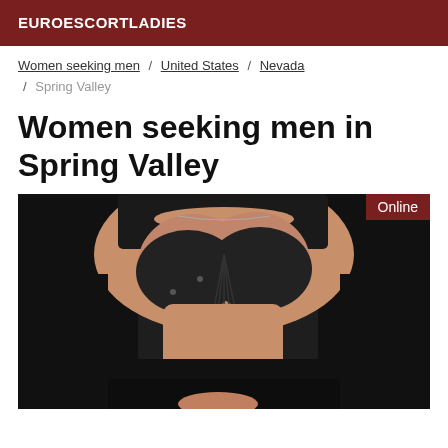EUROESCORTLADIES
Women seeking men / United States / Nevada / Spring Valley
Women seeking men in Spring Valley
[Figure (photo): Close-up photo of a woman wearing black lingerie/bra, with an 'Online' badge in the top-right corner on a dark red background.]